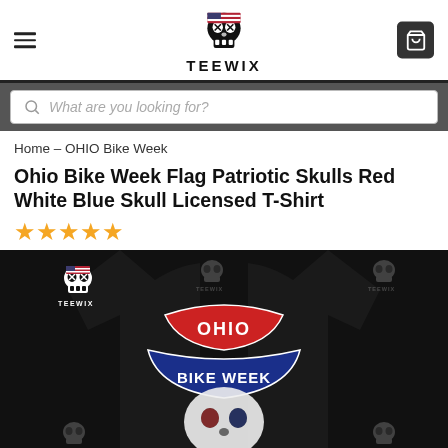[Figure (logo): TEEWIX skull logo and brand name in header]
What are you looking for?
Home – OHIO Bike Week
Ohio Bike Week Flag Patriotic Skulls Red White Blue Skull Licensed T-Shirt
[Figure (photo): Black t-shirt with Ohio Bike Week patriotic skulls graphic on the back, multiple TEEWIX watermarks overlaid on the image]